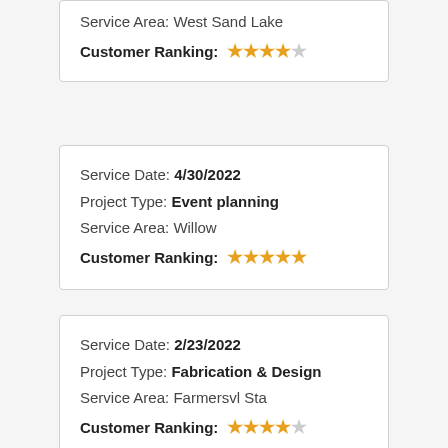Service Area: West Sand Lake
Customer Ranking: ★★★★☆
Service Date: 4/30/2022
Project Type: Event planning
Service Area: Willow
Customer Ranking: ★★★★★
Service Date: 2/23/2022
Project Type: Fabrication & Design
Service Area: Farmersvl Sta
Customer Ranking: ★★★★☆